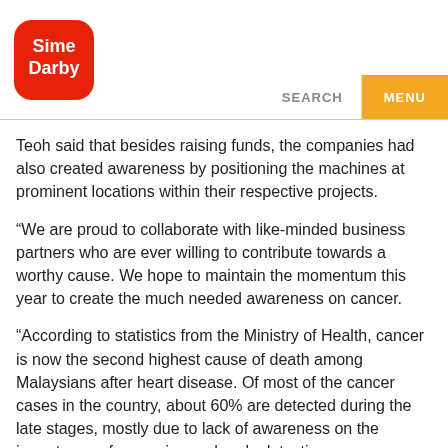[Figure (logo): Sime Darby logo - red rounded square with white text 'Sime Darby']
Teoh said that besides raising funds, the companies had also created awareness by positioning the machines at prominent locations within their respective projects.
“We are proud to collaborate with like-minded business partners who are ever willing to contribute towards a worthy cause. We hope to maintain the momentum this year to create the much needed awareness on cancer.
“According to statistics from the Ministry of Health, cancer is now the second highest cause of death among Malaysians after heart disease. Of most of the cancer cases in the country, about 60% are detected during the late stages, mostly due to lack of awareness on the importance of screening and early detection among Malaysians.
“Sadly, the numbers are expected to increase in the coming years. It is our hope that through campaigns like the Pink Excavator, we can help to raise the level of awareness